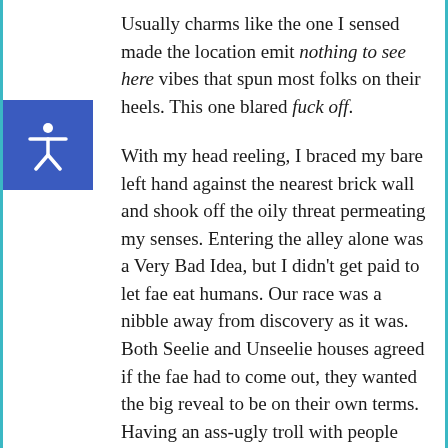Usually charms like the one I sensed made the location emit nothing to see here vibes that spun most folks on their heels. This one blared fuck off.
With my head reeling, I braced my bare left hand against the nearest brick wall and shook off the oily threat permeating my senses. Entering the alley alone was a Very Bad Idea, but I didn't get paid to let fae eat humans. Our race was a nibble away from discovery as it was. Both Seelie and Unseelie houses agreed if the fae had to come out, they wanted the big reveal to be on their own terms. Having an ass-ugly troll with people stuck in his teeth for their poster boy? Probably not the smoothest move in the campaign to convince humanity our races could coexist in harmony.
That first step into shadow made my bones creak. Pressure built in my ears until I swallowed to pop them. Runes on my hand provided the only light, a faint green glow. Given tonight's full moon, I chalked the pervasive darkness up to black magic